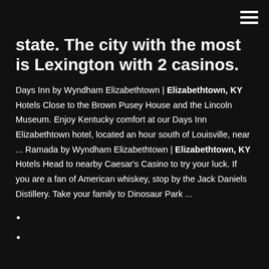(hamburger menu icon)
state. The city with the most is Lexington with 2 casinos.
Days Inn by Wyndham Elizabethtown | Elizabethtown, KY Hotels Close to the Brown Pusey House and the Lincoln Museum. Enjoy Kentucky comfort at our Days Inn Elizabethtown hotel, located an hour south of Louisville, near ... Ramada by Wyndham Elizabethtown | Elizabethtown, KY Hotels Head to nearby Caesar's Casino to try your luck. If you are a fan of American whiskey, stop by the Jack Daniels Distillery. Take your family to Dinosaur Park ...